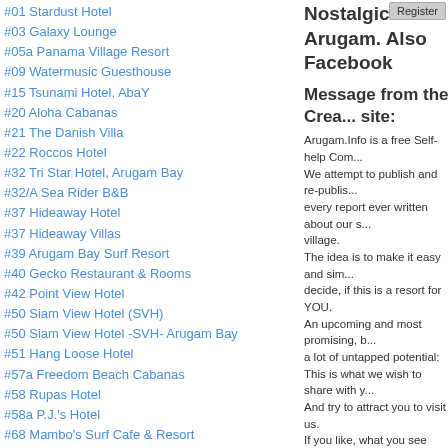#01 Stardust Hotel
#03 Galaxy Lounge
#05a Panama Village Resort
#09 Watermusic Guesthouse
#15 Tsunami Hotel, AbaY
#20 Aloha Cabanas
#21 The Danish Villa
#22 Roccos Hotel
#32 Tri Star Hotel, Arugam Bay
#32/A Sea Rider B&B
#37 Hideaway Hotel
#37 Hideaway Villas
#39 Arugam Bay Surf Resort
#40 Gecko Restaurant & Rooms
#42 Point View Hotel
#50 Siam View Hotel (SVH)
#50 Siam View Hotel -SVH- Arugam Bay
#51 Hang Loose Hotel
#57a Freedom Beach Cabanas
#58 Rupas Hotel
#58a P.J.'s Hotel
#68 Mambo's Surf Cafe & Resort
#69 East Surf Cabanas
Another World Guest house
PottuVille Point Resort
AbaY at its Best
Nostalgic Arugam. Also Facebook
Message from the Creator of this site:
Arugam.Info is a free Self-help Com... We attempt to publish and re-publis... every report ever written about our s... village. The idea is to make it easy and sim... decide, if this is a resort for YOU. An upcoming and most promising, b... a lot of untapped potential: This is what we wish to share with y... And try to attract you to visit us. If you like, what you see here, join o... Facebook Fan Club, too!
Summary of Arugam.inf...
AbaY
AbaY Taxi
contact us
Critics
Deutsch
Die Welt Zeitung
Natur Pur in der Arugam Bay